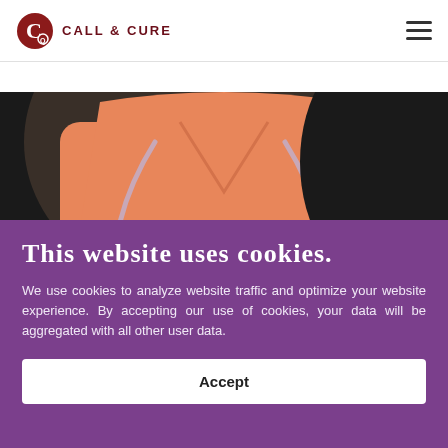CALL & CURE
[Figure (photo): Healthcare worker wearing orange scrubs with a stethoscope around their neck, cropped circular portrait style against dark background.]
This website uses cookies.
We use cookies to analyze website traffic and optimize your website experience. By accepting our use of cookies, your data will be aggregated with all other user data.
Accept